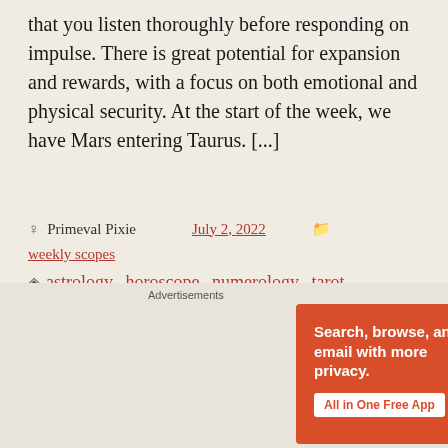that you listen thoroughly before responding on impulse. There is great potential for expansion and rewards, with a focus on both emotional and physical security. At the start of the week, we have Mars entering Taurus. [...]
Primeval Pixie  July 2, 2022  weekly scopes
astrology, horoscope, numerology, tarot, tarotscope, weekly
[Figure (screenshot): DuckDuckGo advertisement banner with orange background. Text reads: Search, browse, and email with more privacy. All in One Free App. Shows DuckDuckGo logo and a phone mockup on the right side.]